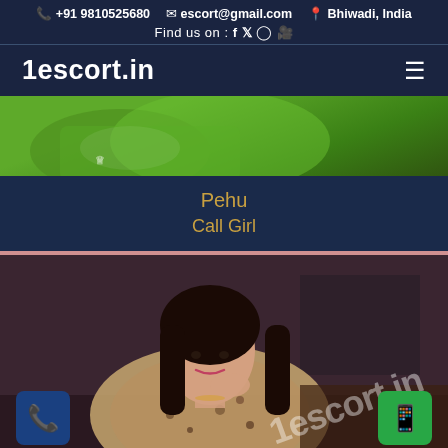+91 9810525680  escort@gmail.com  Bhiwadi, India  Find us on : f y Instagram YouTube
1escort.in
[Figure (photo): Top portion of profile photo showing green background with crown logo]
Pehu
Call Girl
[Figure (photo): Profile photo of a young woman in leopard print dress sitting at a table, with 1escort.in watermark overlay, call button bottom-left, WhatsApp button bottom-right]